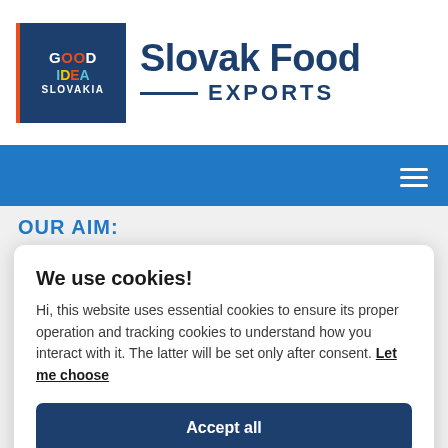[Figure (logo): Good Idea Slovakia logo with dark blue background and colorful letters, alongside 'Slovak Food EXPORTS' branding text in dark blue]
[Figure (other): Blue navigation bar with hamburger menu icon (three horizontal lines) on the right]
OUR AIM:
We use cookies!
Hi, this website uses essential cookies to ensure its proper operation and tracking cookies to understand how you interact with it. The latter will be set only after consent. Let me choose
Accept all
Reject all
International and national chain retails in Romania